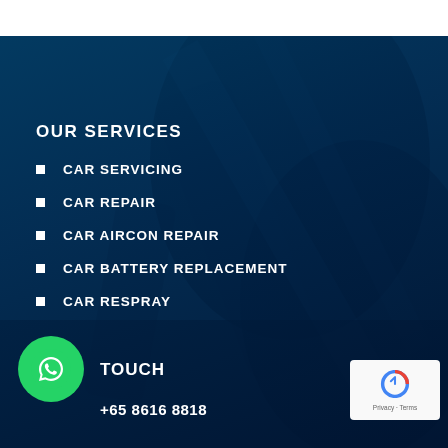[Figure (photo): Dark blue tinted background photo of a mechanic working on a car engine, with hands visible holding tools near engine components. The entire background has a dark teal/navy blue color overlay.]
OUR SERVICES
CAR SERVICING
CAR REPAIR
CAR AIRCON REPAIR
CAR BATTERY REPLACEMENT
CAR RESPRAY
TOUCH
+65 8616 8818
[Figure (logo): Green circular WhatsApp logo button in bottom left corner]
[Figure (logo): Google reCAPTCHA badge in bottom right corner showing Privacy and Terms links]